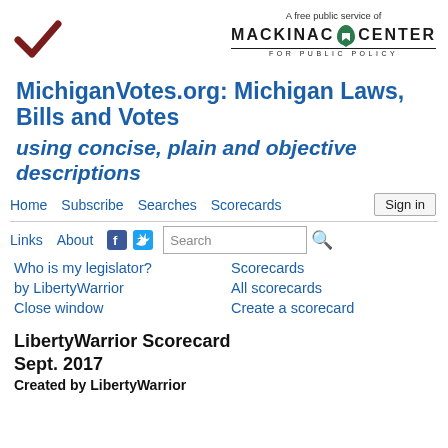[Figure (logo): Dark red checkmark logo on the left]
[Figure (logo): Mackinac Center for Public Policy logo with Michigan state icon and text 'A free public service of']
MichiganVotes.org: Michigan Laws, Bills and Votes using concise, plain and objective descriptions
Home   Subscribe   Searches   Scorecards   Sign in
Links   About   [Facebook icon]   [Twitter icon]   Search [search button]
Who is my legislator?   Scorecards   by LibertyWarrior   All scorecards   Close window   Create a scorecard
LibertyWarrior Scorecard Sept. 2017
Created by LibertyWarrior